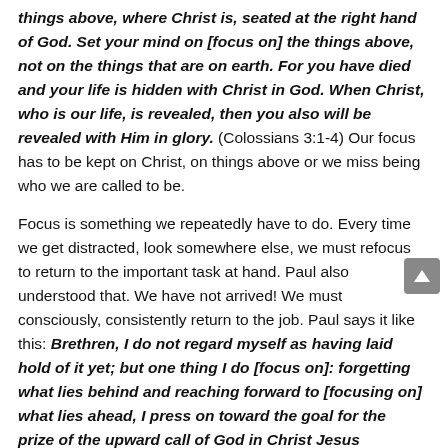things above, where Christ is, seated at the right hand of God. Set your mind on [focus on] the things above, not on the things that are on earth. For you have died and your life is hidden with Christ in God. When Christ, who is our life, is revealed, then you also will be revealed with Him in glory. (Colossians 3:1-4) Our focus has to be kept on Christ, on things above or we miss being who we are called to be.
Focus is something we repeatedly have to do. Every time we get distracted, look somewhere else, we must refocus to return to the important task at hand. Paul also understood that. We have not arrived! We must consciously, consistently return to the job. Paul says it like this: Brethren, I do not regard myself as having laid hold of it yet; but one thing I do [focus on]: forgetting what lies behind and reaching forward to [focusing on] what lies ahead, I press on toward the goal for the prize of the upward call of God in Christ Jesus (Philippians 3:13-14).